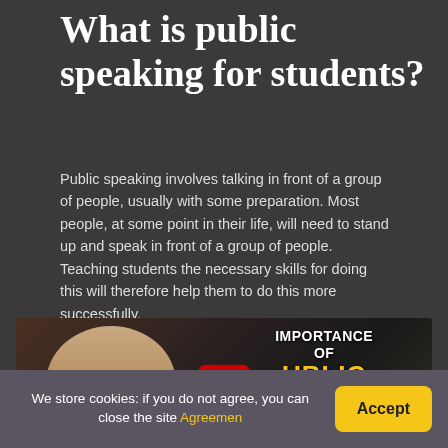What is public speaking for students?
Public speaking involves talking in front of a group of people, usually with some preparation. Most people, at some point in their life, will need to stand up and speak in front of a group of people. Teaching students the necessary skills for doing this will therefore help them to do this more successfully.
[Figure (screenshot): YouTube video thumbnail showing a man in a studio with text overlay reading 'IMPORTANCE OF PUBLIC SPEAKING' with a YouTube play button in the center]
We store cookies: if you do not agree, you can close the site Agreemen